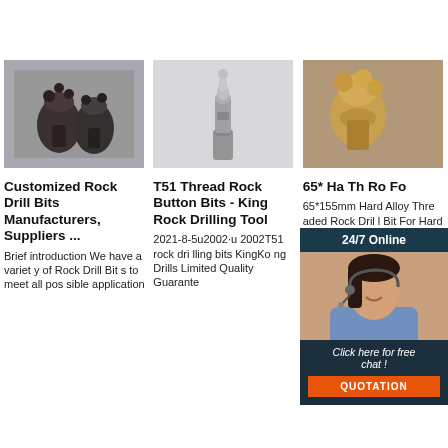[Figure (photo): Dark rock drill bits, multiple pieces, industrial tools on gray background]
[Figure (photo): Silver T51 threaded rock button bit, single piece on white background]
[Figure (photo): Gold/bronze colored hard alloy rock drill bit on blurred background]
Customized Rock Drill Bits Manufacturers, Suppliers ...
T51 Thread Rock Button Bits - King Rock Drilling Tool
65* Hard Alloy Threaded Rock Drill Bit For Hard Rock Drilling Fo...
Brief introduction We have a variety of Rock Drill Bits to meet all possible application
2021-8-5u2002·u2002T51 rock drilling bits KingKong Drills Limited Quality Guarante
65*155mm Hard Alloy Threaded Rock Drill Bit For Hard Rock Drilling. Find Complete